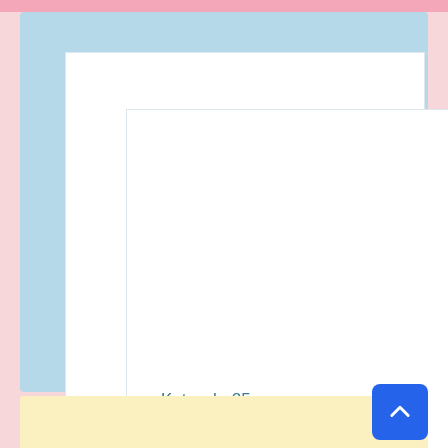Kotyash, 25 y.o.
Russia, Moscow
31.01.22
Good